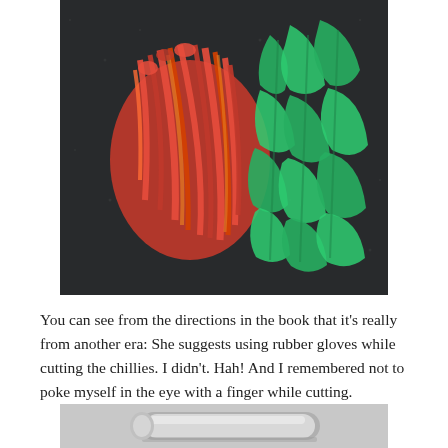[Figure (photo): Sliced red and green peppers/chillies on a dark granite or stone surface. Red pepper strips are on the left and green pepper pieces are on the right.]
You can see from the directions in the book that it's really from another era: She suggests using rubber gloves while cutting the chillies. I didn't. Hah! And I remembered not to poke myself in the eye with a finger while cutting.
[Figure (photo): Partial view of what appears to be a silver/metallic kitchen tool or utensil on a light surface, visible at the bottom of the page.]